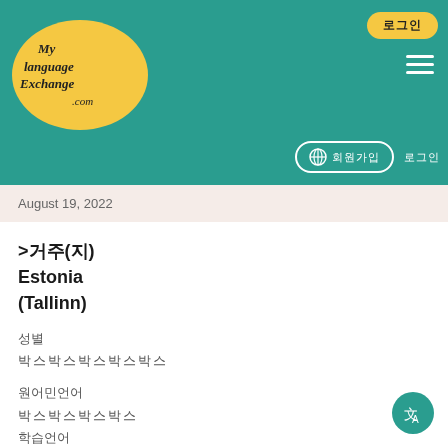[Figure (logo): MyLanguageExchange.com logo in yellow oval on teal header background]
로그인 ≡ 🌐 회원가입 로그인
August 19, 2022
>거주(지) Estonia (Tallinn)
성별 박스박스박스박스박스
원어민언어 박스박스박스박스
학습언어 박스박스박스박스
직업 박스박스
나이 박스박스
자기소개
I'm Ebeken, I'm from Estonia. I am interested in foreign languages and I would like to learn foreign languages. I speak a little English and Spanish